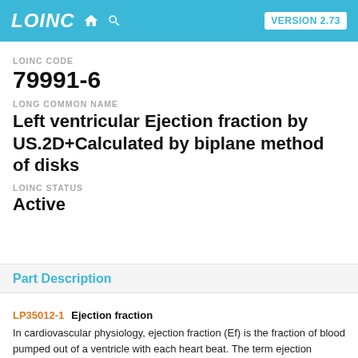LOINC  VERSION 2.73
LOINC CODE
79991-6
LONG COMMON NAME
Left ventricular Ejection fraction by US.2D+Calculated by biplane method of disks
LOINC STATUS
Active
Part Description
LP35012-1  Ejection fraction
In cardiovascular physiology, ejection fraction (Ef) is the fraction of blood pumped out of a ventricle with each heart beat. The term ejection fraction applies to both the right and left ventricles; one